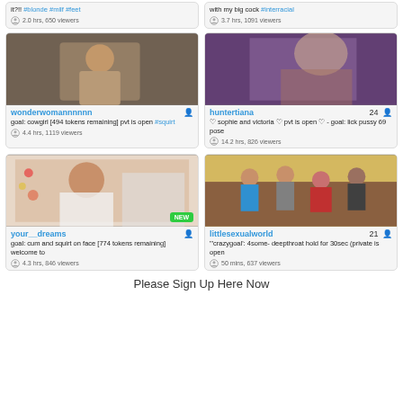it?!! #blonde #milf #feet — 2.0 hrs, 650 viewers
with my big cock #interracial — 3.7 hrs, 1091 viewers
[Figure (photo): Male figure on couch - wonderwomannnnnn stream]
wonderwomannnnnn — goal: cowgirl [494 tokens remaining] pvt is open #squirt — 4.4 hrs, 1119 viewers
[Figure (photo): Blonde female - huntertiana stream]
huntertiana 24 — sophie and victoria pvt is open - goal: lick pussy 69 pose — 14.2 hrs, 826 viewers
[Figure (photo): Female in white - your__dreams stream, NEW badge]
your__dreams — goal: cum and squirt on face [774 tokens remaining] welcome to — 4.3 hrs, 846 viewers
[Figure (photo): Group scene - littlesexualworld stream]
littlesexualworld 21 — 'crazygoal': 4some- deepthroat hold for 30sec (private is open — 50 mins, 637 viewers
Please Sign Up Here Now